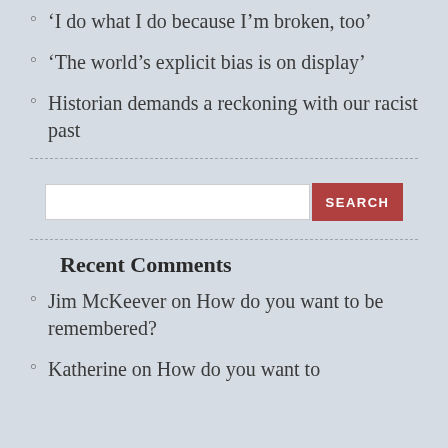‘I do what I do because I’m broken, too’
‘The world’s explicit bias is on display’
Historian demands a reckoning with our racist past
[Figure (other): Search box with a red SEARCH button]
Recent Comments
Jim McKeever on How do you want to be remembered?
Katherine on How do you want to